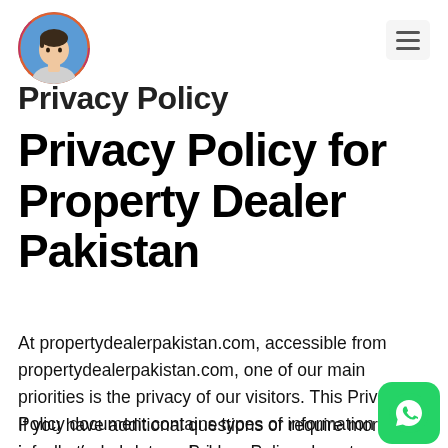[Figure (illustration): Circular avatar icon showing an illustrated person with short hair and blue background, resembling a profile photo]
Privacy Policy
Privacy Policy for Property Dealer Pakistan
At propertydealerpakistan.com, accessible from propertydealerpakistan.com, one of our main priorities is the privacy of our visitors. This Privacy Policy document contains types of information that is collected and recorded by propertydealerpakistan.com and how we use it.
If you have additional questions or require more information about our Privacy Policy, do not hesitate to contact us.
[Figure (logo): WhatsApp green rounded square button with white phone/chat icon]